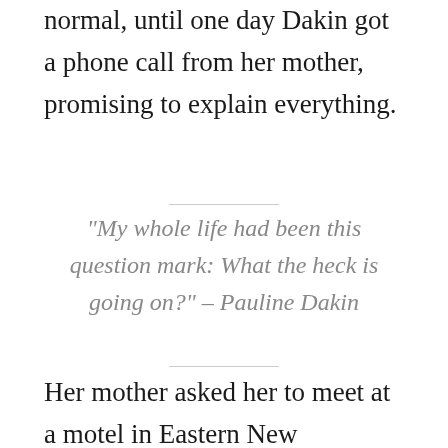normal, until one day Dakin got a phone call from her mother, promising to explain everything.
“My whole life had been this question mark: What the heck is going on?” – Pauline Dakin
Her mother asked her to meet at a motel in Eastern New Brunswick, but not to park directly at the motel. Instead, she was to park at the gas station across the street, where the two would rendezvous in a separate car and